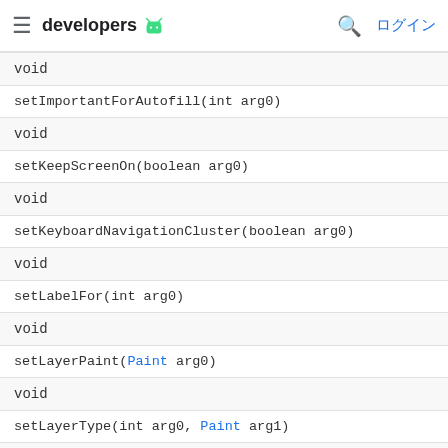≡ developers 🤖  🔍 ログイン
| void |
| setImportantForAutofill(int arg0) |
| void |
| setKeepScreenOn(boolean arg0) |
| void |
| setKeyboardNavigationCluster(boolean arg0) |
| void |
| setLabelFor(int arg0) |
| void |
| setLayerPaint(Paint arg0) |
| void |
| setLayerType(int arg0, Paint arg1) |
| void |